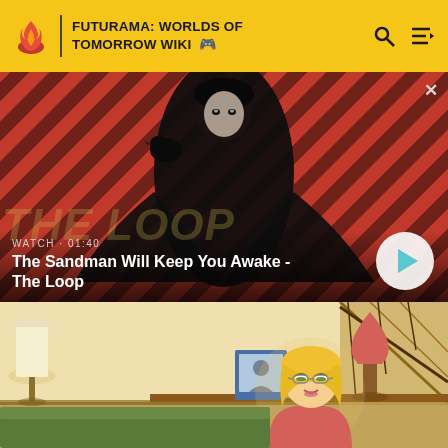FUTURAMA: WORLDS OF TOMORROW WIKI
[Figure (screenshot): Video thumbnail showing a dark-clad figure with a crow on shoulder against a red diagonal-striped background, with overlay text 'WATCH · 01:40' and title 'The Sandman Will Keep You Awake - The Loop', and a play button circle on the right]
[Figure (screenshot): Animated cartoon scene showing a blonde female character seated in a living room with framed photos, a lamp, and staircase in background]